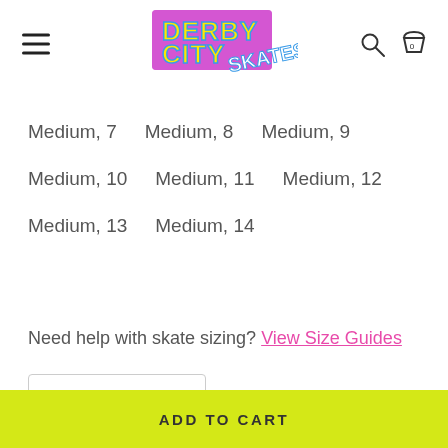Derby City Skates — navigation header with logo, hamburger menu, search and cart icons
Medium, 7   Medium, 8   Medium, 9
Medium, 10   Medium, 11   Medium, 12
Medium, 13   Medium, 14
Need help with skate sizing? View Size Guides
- 1 +
ADD TO CART